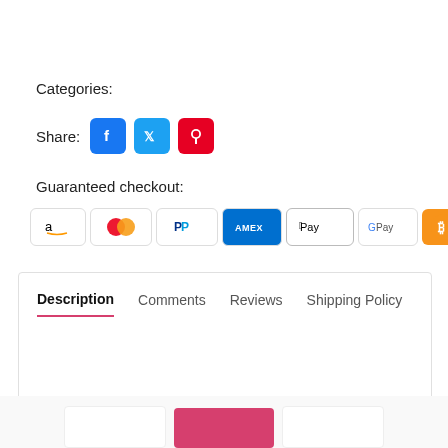Categories:
Share:
[Figure (screenshot): Social share icons: Facebook, Twitter, Pinterest]
Guaranteed checkout:
[Figure (infographic): Payment method badges: Amazon, Mastercard, PayPal, Amex, Apple Pay, Google Pay, Bitcoin, Klarna, OPay, Affirm]
Description  Comments  Reviews  Shipping Policy